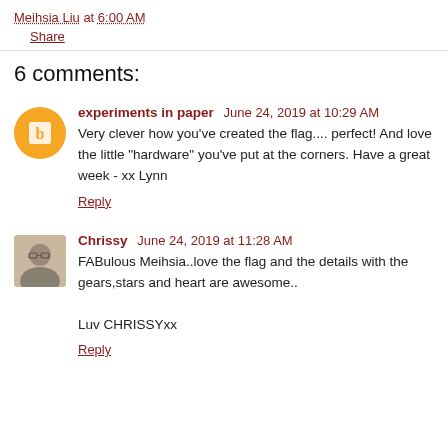Meihsia Liu at 6:00 AM
Share
6 comments:
experiments in paper   June 24, 2019 at 10:29 AM
Very clever how you've created the flag.... perfect! And love the little "hardware" you've put at the corners. Have a great week - xx Lynn
Reply
Chrissy   June 24, 2019 at 11:28 AM
FABulous Meihsia..love the flag and the details with the gears,stars and heart are awesome..

Luv CHRISSYxx
Reply